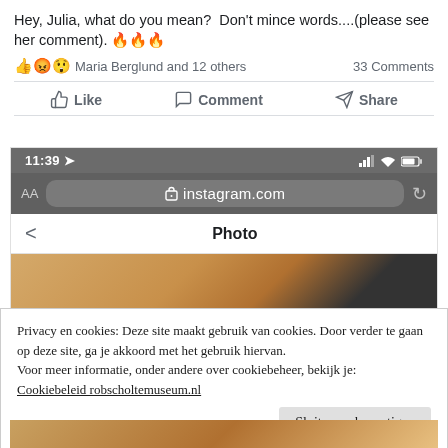Hey, Julia, what do you mean?  Don't mince words....(please see her comment). 🔥🔥🔥
👍😡😲 Maria Berglund and 12 others    33 Comments
Like   Comment   Share
[Figure (screenshot): Mobile browser screenshot showing iOS status bar with time 11:39, URL bar with instagram.com, a Photo header, and a partial Instagram photo preview]
Privacy en cookies: Deze site maakt gebruik van cookies. Door verder te gaan op deze site, ga je akkoord met het gebruik hiervan.
Voor meer informatie, onder andere over cookiebeheer, bekijk je:
Cookiebeleid robscholtemuseum.nl
Sluiten en bevestigen